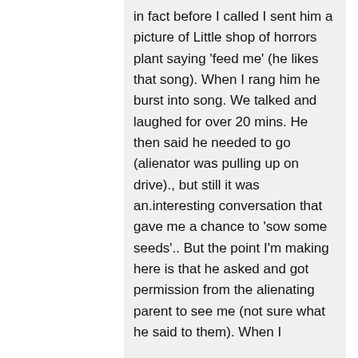in fact before I called I sent him a picture of Little shop of horrors plant saying 'feed me' (he likes that song). When I rang him he burst into song. We talked and laughed for over 20 mins. He then said he needed to go (alienator was pulling up on drive)., but still it was an.interesting conversation that gave me a chance to 'sow some seeds'.. But the point I'm making here is that he asked and got permission from the alienating parent to see me (not sure what he said to them). When I